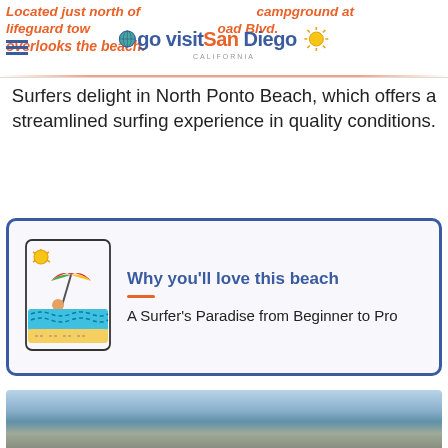Located just north of the campground at lifeguard tower on Carlsbad Blvd. overlooks the beach.
[Figure (logo): Go Visit San Diego California logo with globe icon and sun icon]
Surfers delight in North Ponto Beach, which offers a streamlined surfing experience in quality conditions.
[Figure (illustration): Beach scene illustration with sun, umbrella, person in water, waves]
Why you'll love this beach
A Surfer's Paradise from Beginner to Pro
[Figure (photo): Aerial photo of North Ponto Beach coastline]